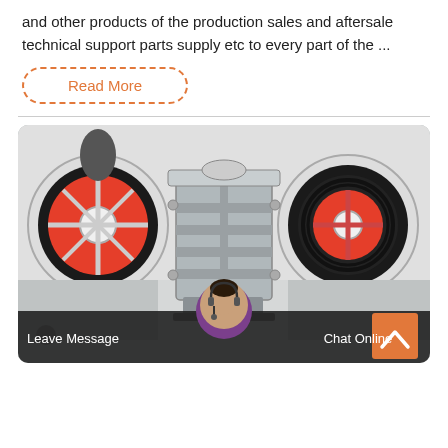and other products of the production sales and aftersale technical support parts supply etc to every part of the ...
Read More
[Figure (photo): Industrial jaw crusher machine with large red and black flywheels on either side and a grey metal frame structure in the center, positioned in a factory/warehouse setting.]
Leave Message
Chat Online